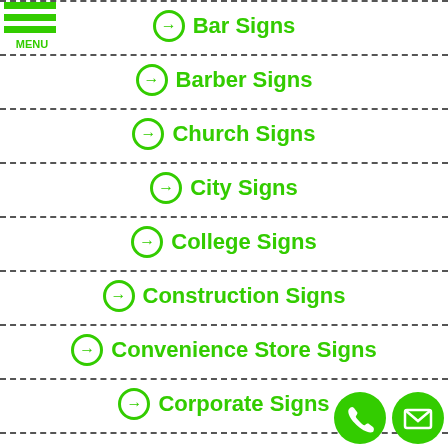[Figure (logo): Hamburger menu icon with three green horizontal bars and MENU label]
➡ Bar Signs
➡ Barber Signs
➡ Church Signs
➡ City Signs
➡ College Signs
➡ Construction Signs
➡ Convenience Store Signs
➡ Corporate Signs
[Figure (illustration): Phone and email green circle contact icons in bottom right corner]